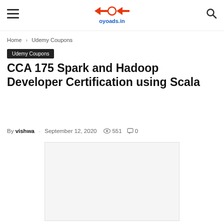oyoads.in — header with menu, logo, search
Home › Udemy Coupons
Udemy Coupons
CCA 175 Spark and Hadoop Developer Certification using Scala
By vishwa - September 12, 2020  551  0
[Figure (photo): Article featured image placeholder (white/light gray box)]